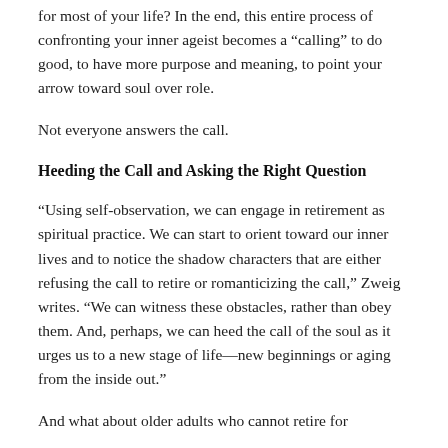for most of your life? In the end, this entire process of confronting your inner ageist becomes a “calling” to do good, to have more purpose and meaning, to point your arrow toward soul over role.
Not everyone answers the call.
Heeding the Call and Asking the Right Question
“Using self-observation, we can engage in retirement as spiritual practice. We can start to orient toward our inner lives and to notice the shadow characters that are either refusing the call to retire or romanticizing the call,” Zweig writes. “We can witness these obstacles, rather than obey them. And, perhaps, we can heed the call of the soul as it urges us to a new stage of life—new beginnings or aging from the inside out.”
And what about older adults who cannot retire for